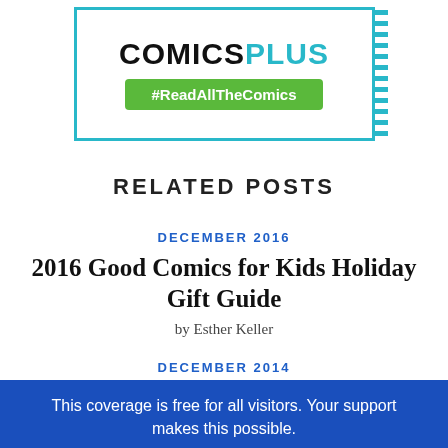[Figure (logo): Comics Plus logo with #ReadAllTheComics hashtag button in a cyan-bordered box with dotted right border]
RELATED POSTS
DECEMBER 2016
2016 Good Comics for Kids Holiday Gift Guide
by Esther Keller
DECEMBER 2014
This coverage is free for all visitors. Your support makes this possible.
SUBSCRIBE